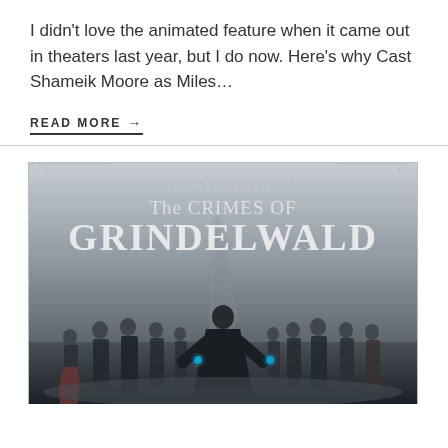I didn't love the animated feature when it came out in theaters last year, but I do now. Here's why Cast Shameik Moore as Miles…
READ MORE →
[Figure (photo): Movie poster for Fantastic Beasts: The Crimes of Grindelwald. Shows multiple characters standing in a foggy Paris scene with the Eiffel Tower in the background. Title text reads 'WHO WILL CHANGE THE FUTURE?' at top, 'FANTASTIC BEASTS' subtitle, then 'THE CRIMES OF GRINDELWALD' in large stylized font.]